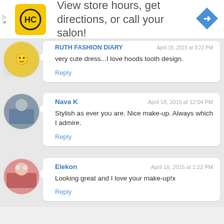[Figure (screenshot): Advertisement banner: HC logo (yellow square with HC text), text 'View store hours, get directions, or call your salon!', blue diamond navigation arrow icon]
RUTH FASHION DIARY
very cute dress...I love hoods tooth design.
Reply
Nava K
April 18, 2015 at 12:04 PM
Stylish as ever you are. Nice make-up. Always which I admire.
Reply
Elekon
April 18, 2015 at 1:22 PM
Looking great and I love your make-up!x
Reply